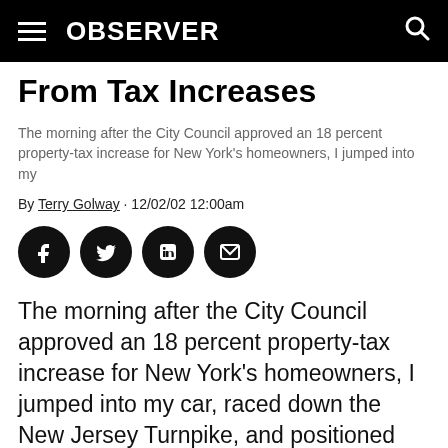OBSERVER
From Tax Increases
The morning after the City Council approved an 18 percent property-tax increase for New York's homeowners, I jumped into my
By Terry Golway · 12/02/02 12:00am
[Figure (infographic): Social share buttons: Facebook, Twitter, LinkedIn, Email]
The morning after the City Council approved an 18 percent property-tax increase for New York's homeowners, I jumped into my car, raced down the New Jersey Turnpike, and positioned myself in the westbound lanes of the